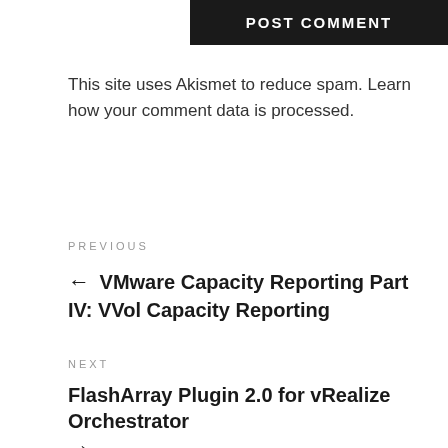Post Comment
This site uses Akismet to reduce spam. Learn how your comment data is processed.
PREVIOUS
← VMware Capacity Reporting Part IV: VVol Capacity Reporting
NEXT
FlashArray Plugin 2.0 for vRealize Orchestrator →